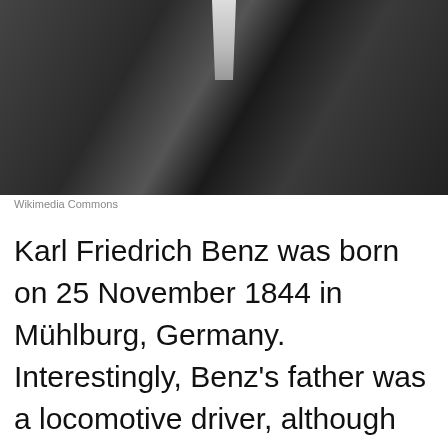[Figure (photo): Black and white photograph of Karl Friedrich Benz, showing his torso in a suit jacket with a white shirt/tie visible at the collar area.]
Wikimedia Commons
Karl Friedrich Benz was born on 25 November 1844 in Mühlburg, Germany. Interestingly, Benz's father was a locomotive driver, although he sadly passed away when Karl was just two years old, so he was raised alone by his